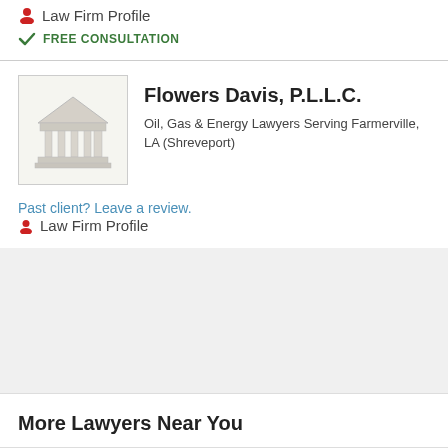Law Firm Profile
FREE CONSULTATION
Flowers Davis, P.L.L.C.
Oil, Gas & Energy Lawyers Serving Farmerville, LA (Shreveport)
Past client? Leave a review.
Law Firm Profile
More Lawyers Near You